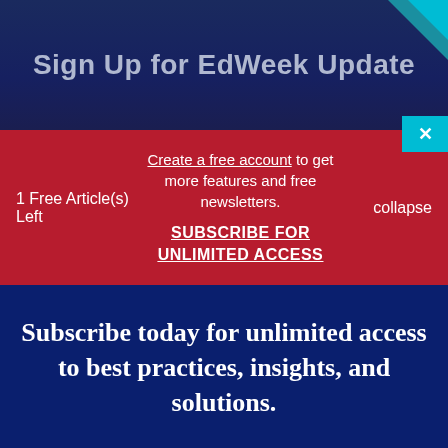Sign Up for EdWeek Update
1 Free Article(s) Left
Create a free account to get more features and free newsletters.
SUBSCRIBE FOR UNLIMITED ACCESS
collapse
Subscribe today for unlimited access to best practices, insights, and solutions.
SUBSCRIBE